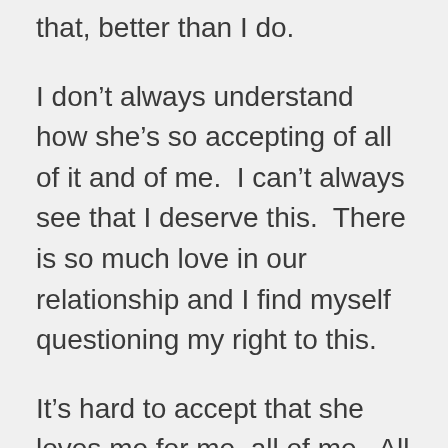that, better than I do.
I don’t always understand how she’s so accepting of all of it and of me.  I can’t always see that I deserve this.  There is so much love in our relationship and I find myself questioning my right to this.
It’s hard to accept that she loves me for me, all of me.  All of me includes the part that is a widow, and that means sometimes on anniversaries I will grieve who I was and what brought me here.
But I still want to be right where I’m at, because I deserve every bit of this.
I deserve happy and I deserve love.